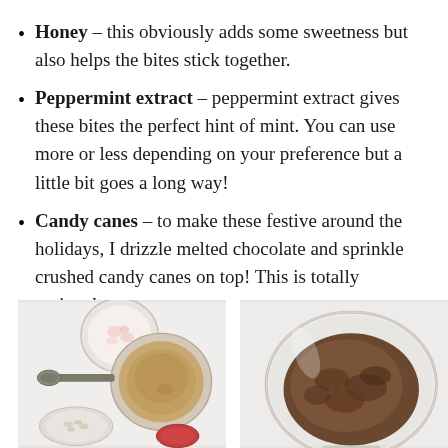Honey – this obviously adds some sweetness but also helps the bites stick together.
Peppermint extract – peppermint extract gives these bites the perfect hint of mint. You can use more or less depending on your preference but a little bit goes a long way!
Candy canes – to make these festive around the holidays, I drizzle melted chocolate and sprinkle crushed candy canes on top! This is totally optional.
[Figure (photo): Overhead view of recipe ingredients including bowls with peanut butter, crushed candy canes, and a measuring spoon on a white surface]
[Figure (photo): Overhead view of a glass bowl containing a mixed chocolate mixture on a white surface]